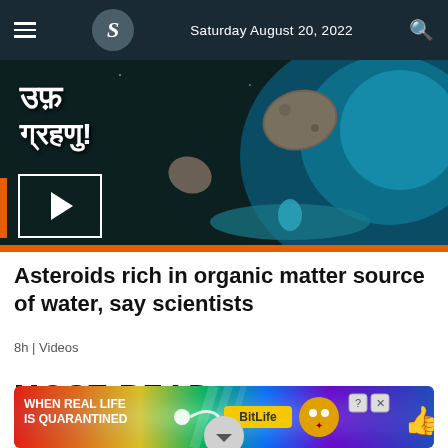Saturday August 20, 2022
[Figure (screenshot): Video thumbnail showing asteroids near Earth with Devanagari text overlay and play button]
Asteroids rich in organic matter source of water, say scientists
8h | Videos
MOST READ
[Figure (infographic): BitLife advertisement banner with rainbow gradient background, text: WHEN REAL LIFE IS QUARANTINED, BitLife logo, cartoon character with star eyes wearing mask]